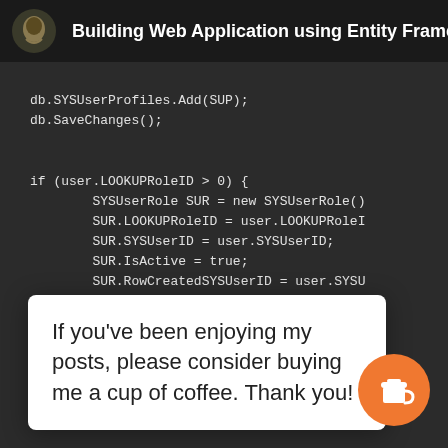Building Web Application using Entity Framework
[Figure (screenshot): Code editor screenshot showing C# code with db.SYSUserProfiles.Add(SUP); db.SaveChanges(); and an if block for user.LOOKUPRoleID > 0 with SYSUserRole assignments]
If you've been enjoying my posts, please consider buying me a cup of coffee. Thank you!